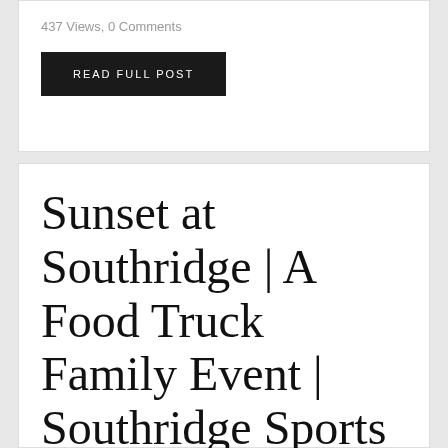437 Views, 0 Comments
READ FULL POST
Sunset at Southridge | A Food Truck Family Event | Southridge Sports & Events Complex